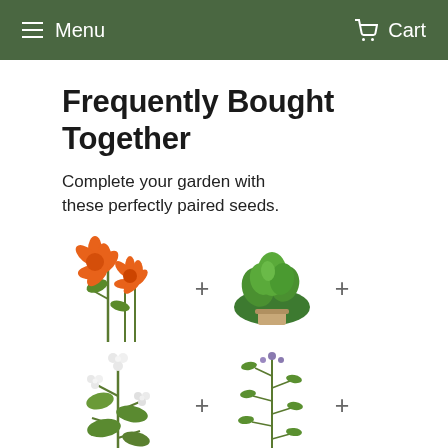Menu   Cart
Frequently Bought Together
Complete your garden with these perfectly paired seeds.
[Figure (photo): Six plant/seed product images arranged in two rows with plus signs between them, showing orange flowers, green basil, white flowering herb, tall green herb, and two partially visible items at bottom]
[Figure (logo): Two logos partially visible at the bottom of the page]